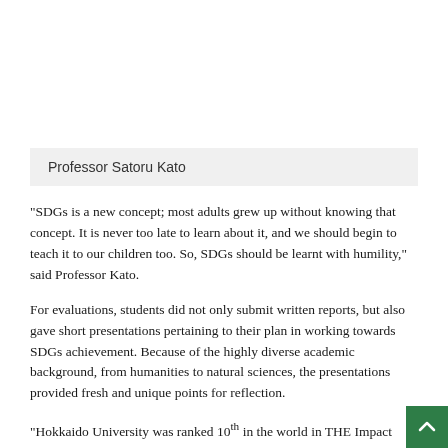Professor Satoru Kato
“SDGs is a new concept; most adults grew up without knowing that concept. It is never too late to learn about it, and we should begin to teach it to our children too. So, SDGs should be learnt with humility,” said Professor Kato.
For evaluations, students did not only submit written reports, but also gave short presentations pertaining to their plan in working towards SDGs achievement. Because of the highly diverse academic background, from humanities to natural sciences, the presentations provided fresh and unique points for reflection.
“Hokkaido University was ranked 10th in the world in THE Impact Ranking 2022 and the SDGs are at the center of the University’s mid-term plan and goals. With courses such as this, students and faculty members